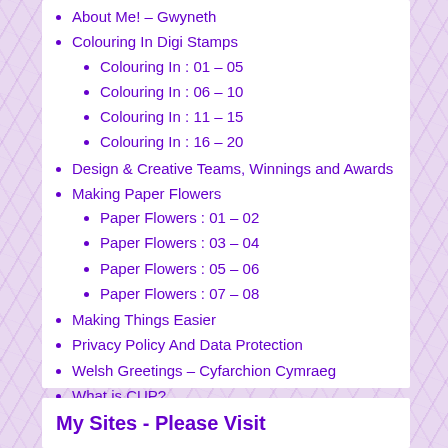About Me! – Gwyneth
Colouring In Digi Stamps
Colouring In : 01 – 05
Colouring In : 06 – 10
Colouring In : 11 – 15
Colouring In : 16 – 20
Design & Creative Teams, Winnings and Awards
Making Paper Flowers
Paper Flowers : 01 – 02
Paper Flowers : 03 – 04
Paper Flowers : 05 – 06
Paper Flowers : 07 – 08
Making Things Easier
Privacy Policy And Data Protection
Welsh Greetings – Cyfarchion Cymraeg
What is CUP?
My Sites - Please Visit